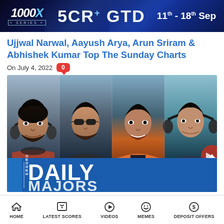1000X SERIES | 5CR+ GTD | 11th - 18th Sep
Ujjwal Narwal, Aayush Arya, Arun Sriram & Abhishek Kumar Top The Sunday Charts
On July 4, 2022  0
[Figure (photo): Four men side by side in a composite photo, with a 'Daily Majors' banner overlay at the bottom. The four individuals are Ujjwal Narwal (wearing headphones and checkered shirt), Aayush Arya (wearing sunglasses and dark jacket), Arun Sriram (wearing orange jacket), and Abhishek Kumar (wearing headphones).]
HOME | LATEST SCORES | VIDEOS | MEMES | DEPOSIT OFFERS